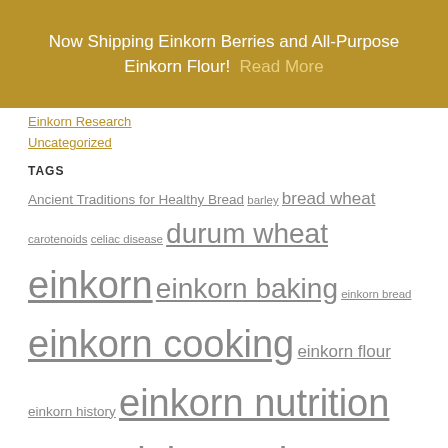Now Shipping Einkorn Berries and All-Purpose Einkorn Flour! Read More
Einkorn Research
Uncategorized
TAGS
Ancient Traditions for Healthy Bread barley bread wheat carotenoids celiac disease durum wheat einkorn einkorn baking einkorn bread einkorn cooking einkorn flour einkorn history einkorn nutrition einkorn recipe einkorn wheat eli rogosa emmer wheat genetically modified gliadin gluten hard red spring wheat hard red winter wheat hard white wheat health benefits health problems honey kamut wheat long grain brown rice millet milling grains oats pitas recipe rye soft red winter wheat soft white wheat sor-ghum wheat spelt triticale types of wheat nutrition comparison umass amherst